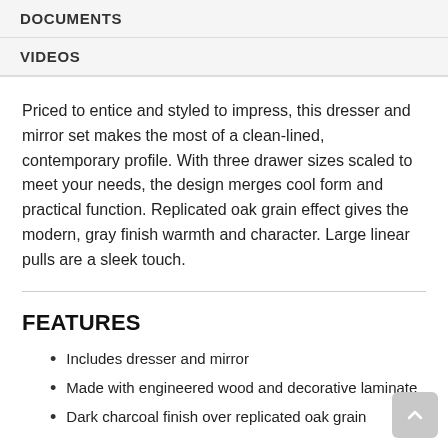DOCUMENTS
VIDEOS
Priced to entice and styled to impress, this dresser and mirror set makes the most of a clean-lined, contemporary profile. With three drawer sizes scaled to meet your needs, the design merges cool form and practical function. Replicated oak grain effect gives the modern, gray finish warmth and character. Large linear pulls are a sleek touch.
FEATURES
Includes dresser and mirror
Made with engineered wood and decorative laminate
Dark charcoal finish over replicated oak grain